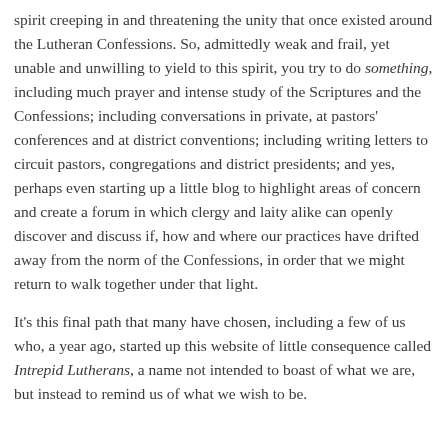spirit creeping in and threatening the unity that once existed around the Lutheran Confessions. So, admittedly weak and frail, yet unable and unwilling to yield to this spirit, you try to do something, including much prayer and intense study of the Scriptures and the Confessions; including conversations in private, at pastors' conferences and at district conventions; including writing letters to circuit pastors, congregations and district presidents; and yes, perhaps even starting up a little blog to highlight areas of concern and create a forum in which clergy and laity alike can openly discover and discuss if, how and where our practices have drifted away from the norm of the Confessions, in order that we might return to walk together under that light.
It's this final path that many have chosen, including a few of us who, a year ago, started up this website of little consequence called Intrepid Lutherans, a name not intended to boast of what we are, but instead to remind us of what we wish to be.